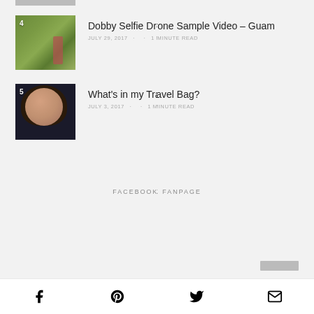[Figure (photo): Partial thumbnail image at top, cropped]
Dobby Selfie Drone Sample Video – Guam
JULY 29, 2017 · · 1 MINUTE READ
What's in my Travel Bag?
JULY 3, 2017 · · 1 MINUTE READ
FACEBOOK FANPAGE
Facebook · Pinterest · Twitter · Email icons